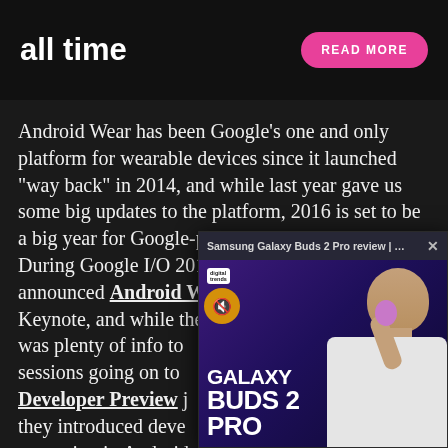[Figure (screenshot): Advertisement banner with text 'all time' and pink 'READ MORE' button on dark background]
Android Wear has been Google’s one and only platform for wearable devices since it launched “way back” in 2014, and while last year gave us some big updates to the platform, 2016 is set to be a big year for Google-powered smartwatches. During Google I/O 2016, the Internet giant announced Android Wear 2.0 during the Day 1 Keynote, and while there was plenty of info to sessions going on too Developer Preview j they introduced deve upcoming in Android fitness features.
[Figure (screenshot): Video popup overlay showing Samsung Galaxy Buds 2 Pro review on Digital Trends channel, with a presenter holding an earbud, purple background with 'GALAXY BUDS 2 PRO' text]